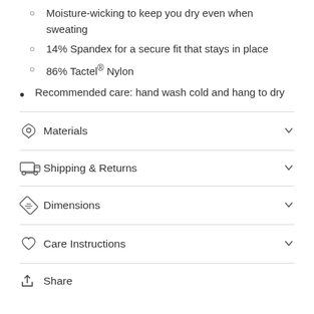Moisture-wicking to keep you dry even when sweating
14% Spandex for a secure fit that stays in place
86% Tactel® Nylon
Recommended care: hand wash cold and hang to dry
Materials
Shipping & Returns
Dimensions
Care Instructions
Share